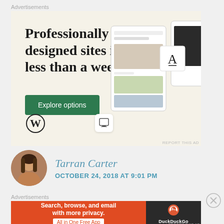[Figure (screenshot): WordPress advertisement: 'Professionally designed sites in less than a week' with Explore options button, WordPress logo, and website mockup screenshots on beige background]
REPORT THIS AD
Tarran Carter
OCTOBER 24, 2018 AT 9:01 PM
[Figure (screenshot): DuckDuckGo advertisement: 'Search, browse, and email with more privacy. All in One Free App' on orange background with DuckDuckGo logo on dark background]
REPORT THIS AD